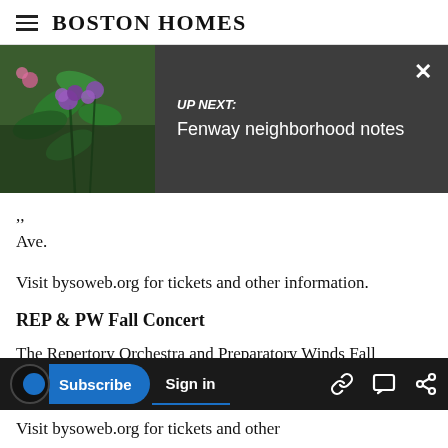Boston Homes
[Figure (screenshot): Up Next overlay with thumbnail image of purple flowers and dark gray panel showing 'UP NEXT: Fenway neighborhood notes' with close button]
Ave.
Visit bysoweb.org for tickets and other information.
REP & PW Fall Concert
The Repertory Orchestra and Preparatory Winds Fall Concert will be held at 7 p.m. on Sunday, Nov. 24 at the Tsai Performance Center at Boston
Visit bysoweb.org for tickets and other